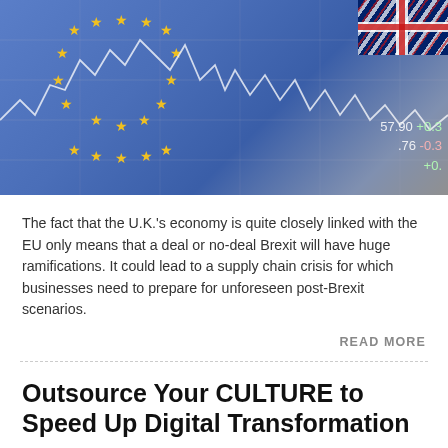[Figure (photo): Composite image of EU flag with gold stars on blue background overlaid with a white stock market line chart and UK flag in corner, with ticker numbers showing 57.90 +0.3, .76 -0.3, +0.]
The fact that the U.K.'s economy is quite closely linked with the EU only means that a deal or no-deal Brexit will have huge ramifications. It could lead to a supply chain crisis for which businesses need to prepare for unforeseen post-Brexit scenarios.
READ MORE
Outsource Your CULTURE to Speed Up Digital Transformation